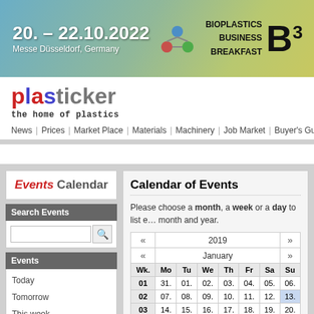[Figure (screenshot): Banner ad for Bioplastics Business Breakfast event, 20.-22.10.2022, Messe Düsseldorf, Germany]
plasticker – the home of plastics
News | Prices | Market Place | Materials | Machinery | Job Market | Buyer's Guide
Events Calendar
Search Events
Events
Today
Tomorrow
This week
Next week
This month
Next month
Calendar of Events
Please choose a month, a week or a day to list events. Or simply choose a month and year.
| Wk. | Mo | Tu | We | Th | Fr | Sa | Su |
| --- | --- | --- | --- | --- | --- | --- | --- |
| 01 | 31. | 01. | 02. | 03. | 04. | 05. | 06. |
| 02 | 07. | 08. | 09. | 10. | 11. | 12. | 13. |
| 03 | 14. | 15. | 16. | 17. | 18. | 19. | 20. |